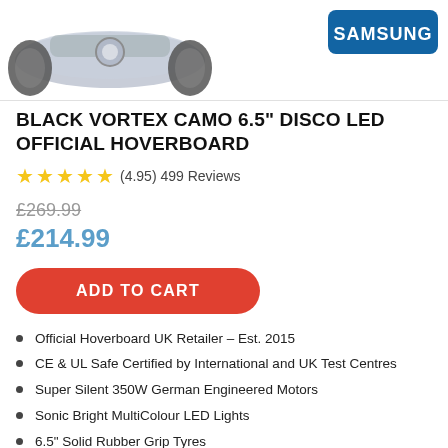[Figure (photo): Partial view of a hoverboard from above/side angle, showing wheel and top surface, white background. Samsung logo badge in top right corner.]
BLACK VORTEX CAMO 6.5" DISCO LED OFFICIAL HOVERBOARD
(4.95) 499 Reviews
£269.99
£214.99
ADD TO CART
Official Hoverboard UK Retailer – Est. 2015
CE & UL Safe Certified by International and UK Test Centres
Super Silent 350W German Engineered Motors
Sonic Bright MultiColour LED Lights
6.5" Solid Rubber Grip Tyres
Superb 1 Year Warranty and UK Based Customer Support
Powered by a Premium SAMSUNG Cell Battery Pack